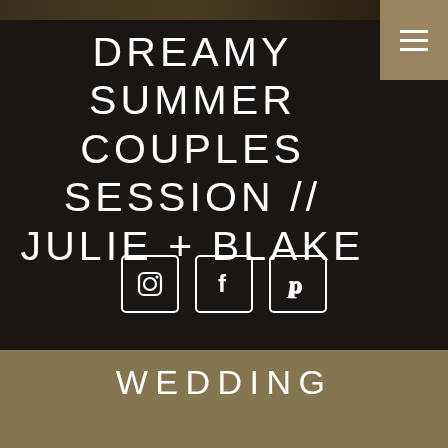[Figure (photo): Dark background with faint foliage/outdoor scene at top]
DREAMY SUMMER COUPLES SESSION // JULIE + BLAKE
[Figure (infographic): Three social media icon buttons: Instagram, Facebook, Pinterest in white square outlines]
WEDDING